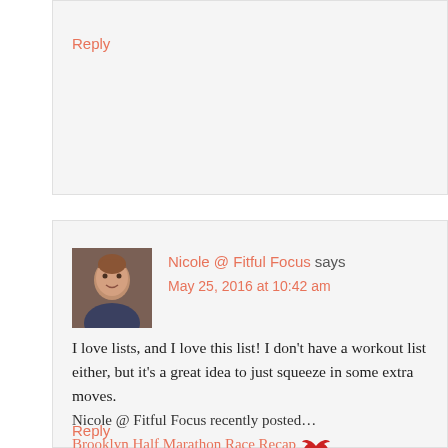Reply
Nicole @ Fitful Focus says
May 25, 2016 at 10:42 am
I love lists, and I love this list! I don't have a workout list either, but it's a great idea to just squeeze in some extra moves.
Nicole @ Fitful Focus recently posted…
Brooklyn Half Marathon Race Recap
Reply